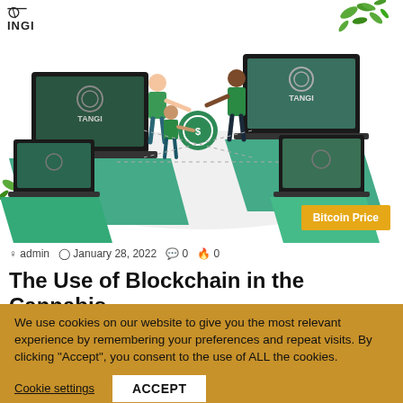[Figure (illustration): TANGI blockchain illustration showing two laptops with TANGI logo on screens, people exchanging a green coin/token, with cannabis leaf decorations in corners. Isometric style illustration.]
INGI
admin  January 28, 2022  0  0
The Use of Blockchain in the Cannabis
We use cookies on our website to give you the most relevant experience by remembering your preferences and repeat visits. By clicking "Accept", you consent to the use of ALL the cookies.
Cookie settings  ACCEPT